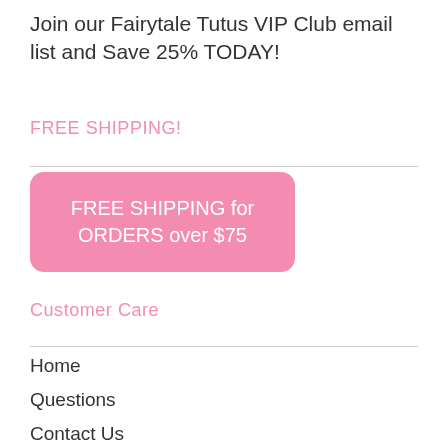Join our Fairytale Tutus VIP Club email list and Save 25% TODAY!
FREE SHIPPING!
[Figure (infographic): Pink rounded rectangle button with white text reading 'FREE SHIPPING for ORDERS over $75']
Customer Care
Home
Questions
Contact Us